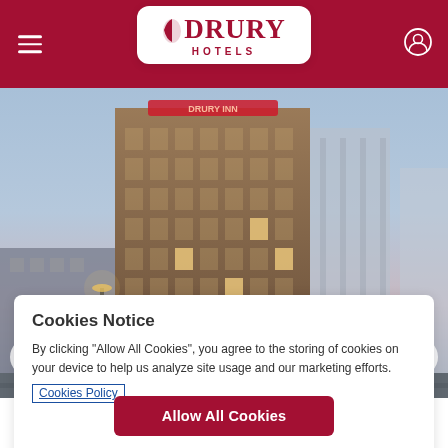[Figure (logo): Drury Hotels logo in a white rounded rectangle, centered in a dark red/maroon navigation header bar]
[Figure (photo): Exterior photo of a tall multi-story Drury hotel building at dusk/twilight, with a glowing sign on top, street lights visible, and other commercial buildings in the background]
Cookies Notice
By clicking "Allow All Cookies", you agree to the storing of cookies on your device to help us analyze site usage and our marketing efforts.
Cookies Policy
Allow All Cookies